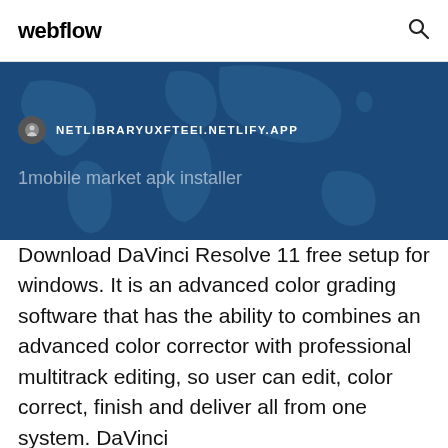webflow
[Figure (screenshot): Blue world map banner with URL bar showing NETLIBRARYUXFTEEI.NETLIFY.APP and search text '1mobile market apk installer']
Download DaVinci Resolve 11 free setup for windows. It is an advanced color grading software that has the ability to combines an advanced color corrector with professional multitrack editing, so user can edit, color correct, finish and deliver all from one system. DaVinci